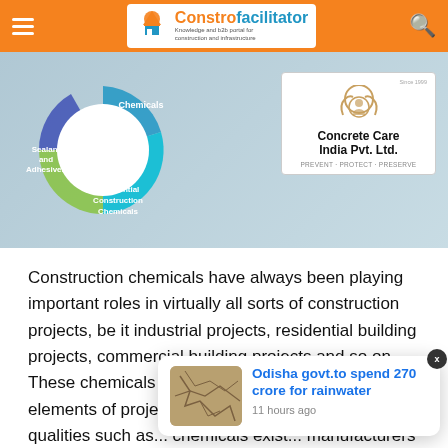Constrofacilitator - Knowledge and b2b portal for construction and infrastructure
[Figure (infographic): Donut/pie chart showing Concrete Care Services extends for: Chemicals, Residential Construction Chemicals, Sealant and Adhesives segments, alongside Concrete Care India Pvt. Ltd. company logo with tagline PREVENT - PROTECT - PRESERVE]
Construction chemicals have always been playing important roles in virtually all sorts of construction projects, be it industrial projects, residential building projects, commercial building projects and so on. These chemicals are often used in various elements of projects to achieve various important qualities such as... chemicals exist... manufacturers worldwide.
[Figure (screenshot): Notification popup: Odisha govt.to spend 270 crore for rainwater - 11 hours ago, with a thumbnail image of cracked earth/ground]